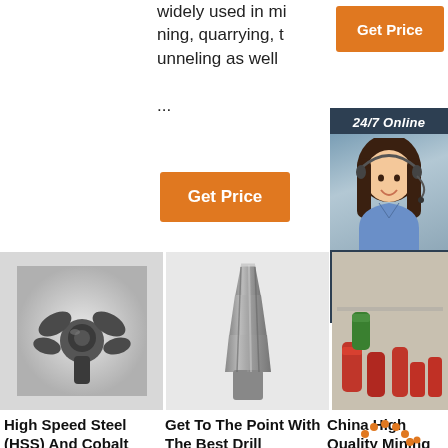widely used in mining, quarrying, tunneling as well ...
[Figure (other): Orange Get Price button top right]
[Figure (other): Orange Get Price button middle]
[Figure (other): 24/7 Online chat widget with woman wearing headset, Click here for free chat!, QUOTATION button]
[Figure (photo): High Speed Steel drill bit head, black and white photo]
[Figure (photo): Tapered chisel drill bit, gray metal]
[Figure (photo): China mining tools, red and green components]
High Speed Steel (HSS) And Cobalt
Get To The Point With The Best Drill
China High Quality Mining Tools